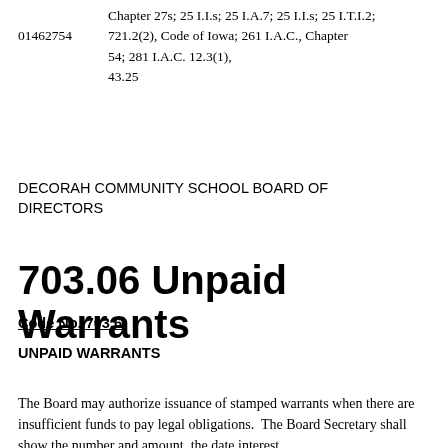Chapter 273; 25 I.I.S; 25 I.A.7; 25 I.I.S; 25 I.T.I.2; 721.2(2), Code of Iowa; 261 I.A.C., Chapter 54; 281 I.A.C. 12.3(1), 43.25
01462754
DECORAH COMMUNITY SCHOOL BOARD OF DIRECTORS
703.06 Unpaid Warrants
Code No. 703.6
UNPAID WARRANTS
The Board may authorize issuance of stamped warrants when there are insufficient funds to pay legal obligations.  The Board Secretary shall show the number and amount, the date interest commences, the rate of interest, the name and address of the